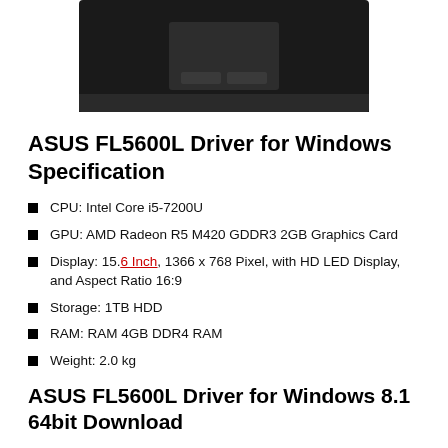[Figure (photo): Bottom view of a laptop showing touchpad with two buttons, dark color]
ASUS FL5600L Driver for Windows Specification
CPU: Intel Core i5-7200U
GPU: AMD Radeon R5 M420 GDDR3 2GB Graphics Card
Display: 15.6 Inch, 1366 x 768 Pixel, with HD LED Display, and Aspect Ratio 16:9
Storage: 1TB HDD
RAM: RAM 4GB DDR4 RAM
Weight: 2.0 kg
ASUS FL5600L Driver for Windows 8.1 64bit Download